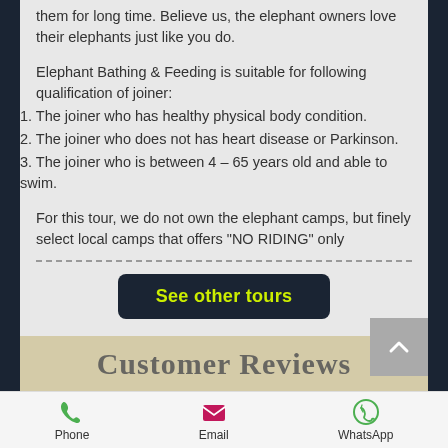them for long time. Believe us, the elephant owners love their elephants just like you do.
Elephant Bathing & Feeding is suitable for following qualification of joiner:
1. The joiner who has healthy physical body condition.
2. The joiner who does not has heart disease or Parkinson.
3. The joiner who is between 4 – 65 years old and able to swim.
For this tour, we do not own the elephant camps, but finely select local camps that offers "NO RIDING" only
See other tours
Customer Reviews
Phone   Email   WhatsApp